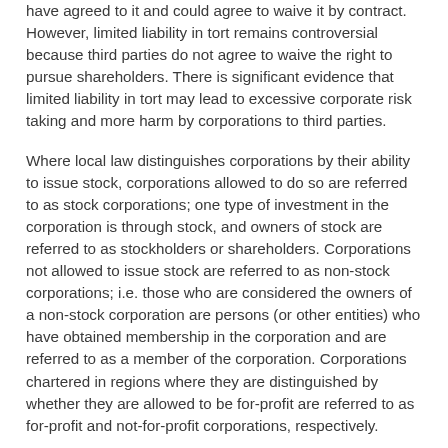have agreed to it and could agree to waive it by contract. However, limited liability in tort remains controversial because third parties do not agree to waive the right to pursue shareholders. There is significant evidence that limited liability in tort may lead to excessive corporate risk taking and more harm by corporations to third parties.
Where local law distinguishes corporations by their ability to issue stock, corporations allowed to do so are referred to as stock corporations; one type of investment in the corporation is through stock, and owners of stock are referred to as stockholders or shareholders. Corporations not allowed to issue stock are referred to as non-stock corporations; i.e. those who are considered the owners of a non-stock corporation are persons (or other entities) who have obtained membership in the corporation and are referred to as a member of the corporation. Corporations chartered in regions where they are distinguished by whether they are allowed to be for-profit are referred to as for-profit and not-for-profit corporations, respectively.
There is some overlap between stock/non-stock and for-profit/not-for-profit in that not-for-profit corporations are